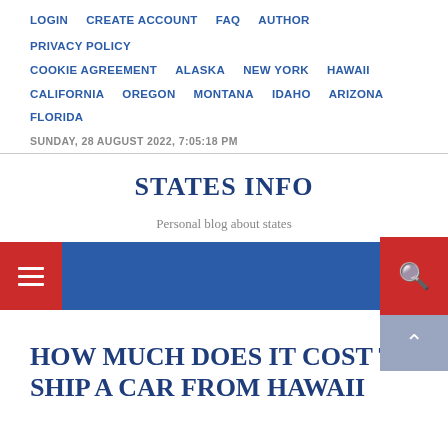LOGIN  CREATE ACCOUNT  FAQ  AUTHOR  PRIVACY POLICY  COOKIE AGREEMENT  ALASKA  NEW YORK  HAWAII  CALIFORNIA  OREGON  MONTANA  IDAHO  ARIZONA  FLORIDA
SUNDAY, 28 AUGUST 2022, 7:05:18 PM
STATES INFO
Personal blog about states
[Figure (screenshot): Blue navigation bar with red hamburger menu button on left and red search button on right]
HOW MUCH DOES IT COST TO SHIP A CAR FROM HAWAII